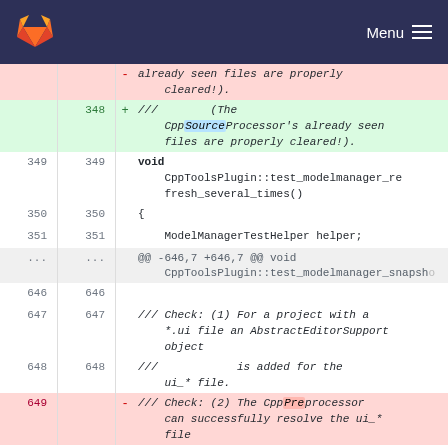GitLab — Menu
[Figure (screenshot): Git diff view showing code changes in a C++ source file. Lines 348-351 show added/context lines for CppToolsPlugin::test_modelmanager_refresh_several_times() function. Lines 646-649 show context and deleted lines with comments about CppPreprocessor checks.]